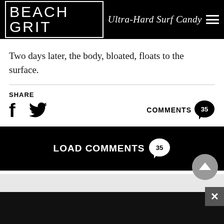BEACH GRIT Ultra-Hard Surf Candy
Two days later, the body, bloated, floats to the surface.
SHARE
COMMENTS 35
LOAD COMMENTS 35